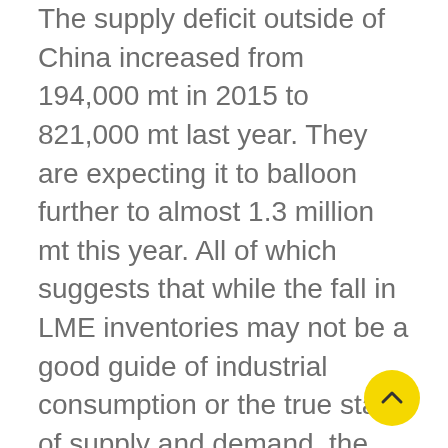The supply deficit outside of China increased from 194,000 mt in 2015 to 821,000 mt last year. They are expecting it to balloon further to almost 1.3 million mt this year. All of which suggests that while the fall in LME inventories may not be a good guide of industrial consumption or the true state of supply and demand, the physical delivery premiums probably are and support the gradually tightening market hypothesis
Arguably though, price strength in the last three-to-six months has had more to do with expectation than reality. China's robust implementation of its environmental clean-up